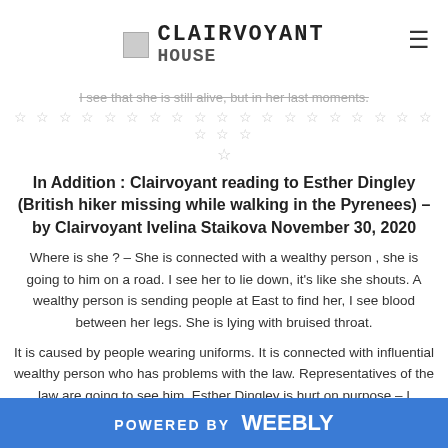CLAIRVOYANT HOUSE
I see that she is still alive, but in her last moments.
In Addition : Clairvoyant reading to Esther Dingley (British hiker missing while walking in the Pyrenees) – by Clairvoyant Ivelina Staikova November 30, 2020
Where is she ? – She is connected with a wealthy person , she is going to him on a road. I see her to lie down, it's like she shouts. A wealthy person is sending people at East to find her, I see blood between her legs. She is lying with bruised throat.
It is caused by people wearing uniforms. It is connected with influential wealthy person who has problems with the law. Representatives of the law are going to see him. Esther Dingley is hurt on purpose – I
POWERED BY weebly